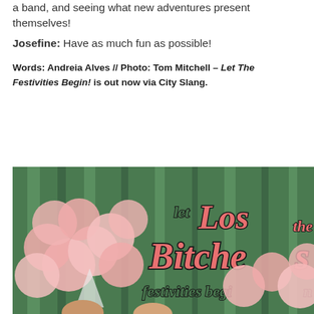a band, and seeing what new adventures present themselves!
Josefine: Have as much fun as possible!
Words: Andreia Alves // Photo: Tom Mitchell – Let The Festivities Begin! is out now via City Slang.
[Figure (photo): Photo of people holding pink balloons in front of a green curtain backdrop with the album artwork text 'let Los Bitches the festivities begin' in large pink and green retro lettering]